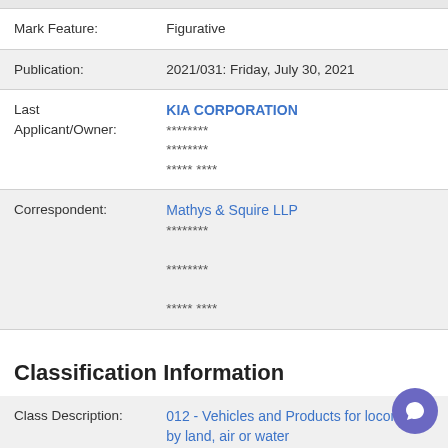| Field | Value |
| --- | --- |
| Mark Feature: | Figurative |
| Publication: | 2021/031: Friday, July 30, 2021 |
| Last Applicant/Owner: | KIA CORPORATION
********
********
***** **** |
| Field | Value |
| --- | --- |
| Correspondent: | Mathys & Squire LLP
********
********
***** **** |
Classification Information
| Field | Value |
| --- | --- |
| Class Description: | 012 - Vehicles and Products for locomotion by land, air or water |
| Goods & Services: | Automobiles; sports cars; vans [vehicles]; trucks; motor buses; electric cars. |